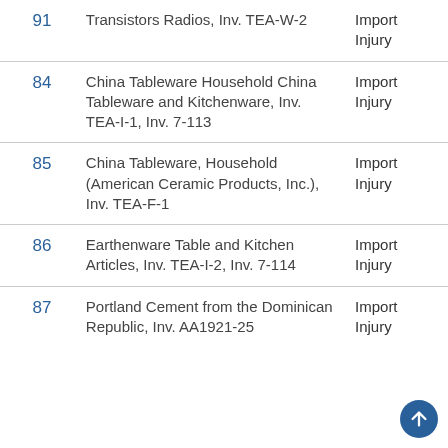| # | Description | Type |
| --- | --- | --- |
| 91 | Transistors Radios, Inv. TEA-W-2 | Import Injury |
| 84 | China Tableware Household China Tableware and Kitchenware, Inv. TEA-I-1, Inv. 7-113 | Import Injury |
| 85 | China Tableware, Household (American Ceramic Products, Inc.), Inv. TEA-F-1 | Import Injury |
| 86 | Earthenware Table and Kitchen Articles, Inv. TEA-I-2, Inv. 7-114 | Import Injury |
| 87 | Portland Cement from the Dominican Republic, Inv. AA1921-25 | Import Injury |